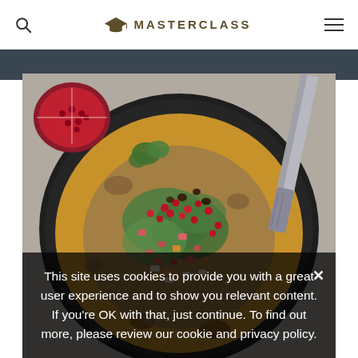MASTERCLASS
[Figure (photo): Overhead photo of a flatbread/pizza topped with colorful toppings including pomegranate seeds, herbs, diced vegetables in a dark round pan, with a pomegranate half and chef's knife visible beside the pan on a gray surface]
This site uses cookies to provide you with a great user experience and to show you relevant content. If you're OK with that, just continue. To find out more, please review our cookie and privacy policy.